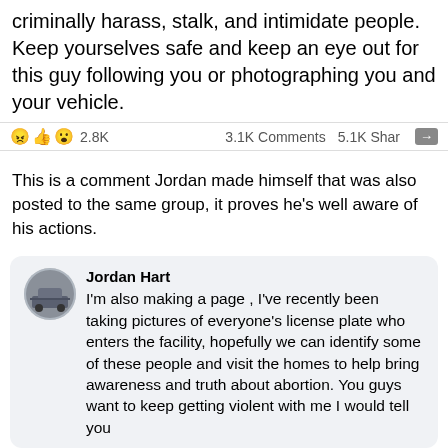criminally harass, stalk, and intimidate people. Keep yourselves safe and keep an eye out for this guy following you or photographing you and your vehicle.
😠👍😮 2.8K   3.1K Comments  5.1K Shares
This is a comment Jordan made himself that was also posted to the same group, it proves he's well aware of his actions.
Jordan Hart
I'm also making a page , I've recently been taking pictures of everyone's license plate who enters the facility, hopefully we can identify some of these people and visit the homes to help bring awareness and truth about abortion. You guys want to keep getting violent with me I would tell you